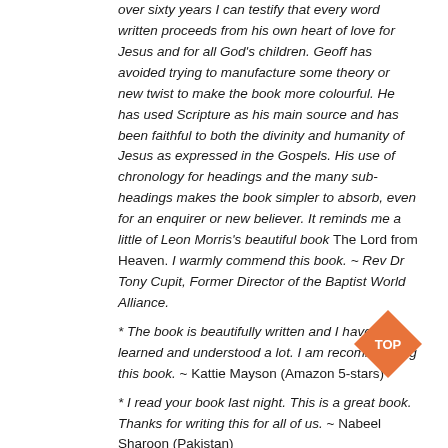over sixty years I can testify that every word written proceeds from his own heart of love for Jesus and for all God's children. Geoff has avoided trying to manufacture some theory or new twist to make the book more colourful. He has used Scripture as his main source and has been faithful to both the divinity and humanity of Jesus as expressed in the Gospels. His use of chronology for headings and the many sub-headings makes the book simpler to absorb, even for an enquirer or new believer. It reminds me a little of Leon Morris's beautiful book The Lord from Heaven. I warmly commend this book. ~ Rev Dr Tony Cupit, Former Director of the Baptist World Alliance. * The book is beautifully written and I have learned and understood a lot. I am recommending this book. ~ Kattie Mayson (Amazon 5-stars) * I read your book last night. This is a great book. Thanks for writing this for all of us. ~ Nabeel Sharoon (Pakistan) Facebook Links: https://www.facebook.com/LifeofJesus.GeoffWaug